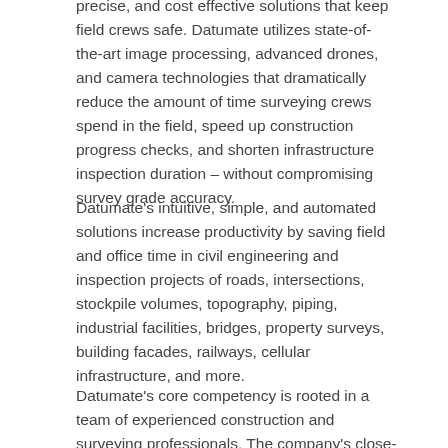precise, and cost effective solutions that keep field crews safe. Datumate utilizes state-of-the-art image processing, advanced drones, and camera technologies that dramatically reduce the amount of time surveying crews spend in the field, speed up construction progress checks, and shorten infrastructure inspection duration – without compromising survey grade accuracy.
Datumate's intuitive, simple, and automated solutions increase productivity by saving field and office time in civil engineering and inspection projects of roads, intersections, stockpile volumes, topography, piping, industrial facilities, bridges, property surveys, building facades, railways, cellular infrastructure, and more.
Datumate's core competency is rooted in a team of experienced construction and surveying professionals. The company's close-range photogrammetry software